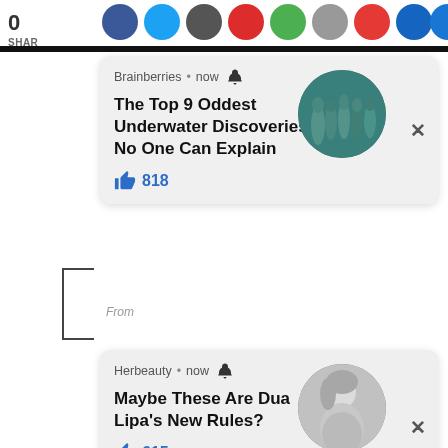[Figure (screenshot): Top bar with number 0, SHARE label, and row of social media icon circles (blue, dark blue, gray, red, green, gray, red, blue, blue)]
[Figure (screenshot): Notification card from Brainberries with title 'The Top 9 Oddest Underwater Discoveries No One Can Explain', 818 likes, and circular underwater statues thumbnail image]
[Figure (screenshot): Notification card from Herbeauty with title 'Maybe These Are Dua Lipa's New Rules?', 615 likes, and circular black-and-white photo of blonde woman]